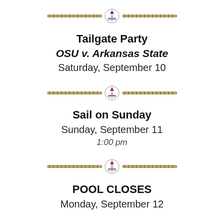[Figure (illustration): Decorative rope divider with sailing/anchor emblem in center]
Tailgate Party
OSU v. Arkansas State
Saturday, September 10
[Figure (illustration): Decorative rope divider with sailing/anchor emblem in center]
Sail on Sunday
Sunday, September 11
1:00 pm
[Figure (illustration): Decorative rope divider with sailing/anchor emblem in center]
POOL CLOSES
Monday, September 12